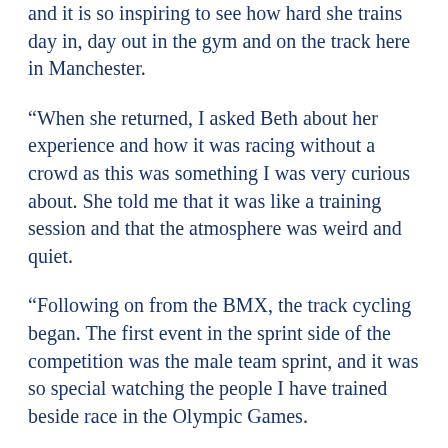and it is so inspiring to see how hard she trains day in, day out in the gym and on the track here in Manchester.
“When she returned, I asked Beth about her experience and how it was racing without a crowd as this was something I was very curious about. She told me that it was like a training session and that the atmosphere was weird and quiet.
“Following on from the BMX, the track cycling began. The first event in the sprint side of the competition was the male team sprint, and it was so special watching the people I have trained beside race in the Olympic Games.
“Great Britain reached the final, which I watched with my team-mates before we did our gym session; the emotions were so high as we wanted them to win so badly. They gave such an amazing performance and